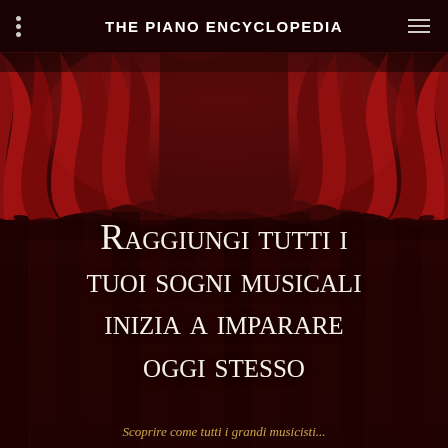THE PIANO ENCYCLOPEDIA
[Figure (illustration): Red theater curtains background with dark wooden vertical panel texture below, creating a dramatic stage setting]
Raggiungi tutti i tuoi sogni musicali inizia a imparare oggi stesso
Scoprire come tutti i grandi musicisti...